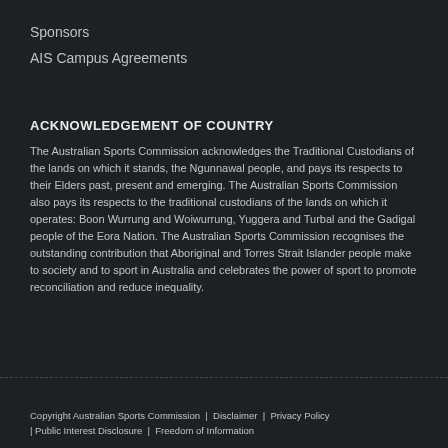Sponsors
AIS Campus Agreements
ACKNOWLEDGEMENT OF COUNTRY
The Australian Sports Commission acknowledges the Traditional Custodians of the lands on which it stands, the Ngunnawal people, and pays its respects to their Elders past, present and emerging. The Australian Sports Commission also pays its respects to the traditional custodians of the lands on which it operates: Boon Wurrung and Woiwurrung, Yuggera and Turbal and the Gadigal people of the Eora Nation. The Australian Sports Commission recognises the outstanding contribution that Aboriginal and Torres Strait Islander people make to society and to sport in Australia and celebrates the power of sport to promote reconciliation and reduce inequality.
Copyright Australian Sports Commission  |  Disclaimer  |  Privacy Policy  |  Public Interest Disclosure  |  Freedom of Information